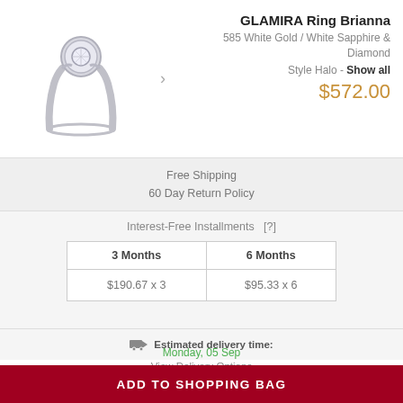[Figure (photo): Silver halo-style ring with diamond/sapphire center stone on white background]
GLAMIRA Ring Brianna
585 White Gold / White Sapphire & Diamond
Style Halo - Show all
$572.00
Free Shipping
60 Day Return Policy
Interest-Free Installments  [?]
| 3 Months | 6 Months |
| --- | --- |
| $190.67 x 3 | $95.33 x 6 |
Estimated delivery time:
Monday, 05 Sep
View Delivery Options
Select an Extended Protection Plan
ADD TO SHOPPING BAG